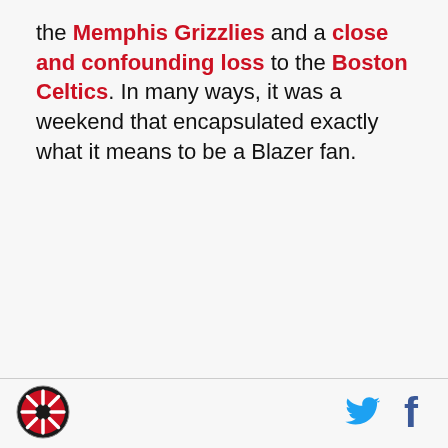the Memphis Grizzlies and a close and confounding loss to the Boston Celtics. In many ways, it was a weekend that encapsulated exactly what it means to be a Blazer fan.
[Figure (logo): Portland Trail Blazers circular logo in black and red]
[Figure (illustration): Twitter bird icon in blue]
[Figure (illustration): Facebook f icon in dark blue]